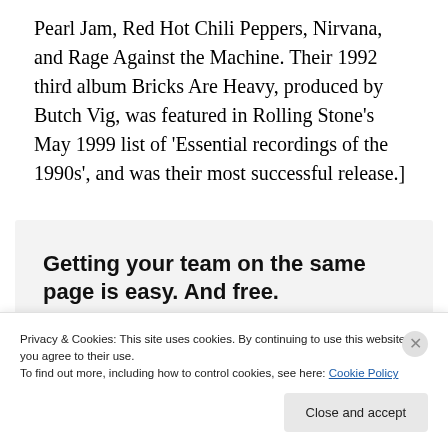Pearl Jam, Red Hot Chili Peppers, Nirvana, and Rage Against the Machine. Their 1992 third album Bricks Are Heavy, produced by Butch Vig, was featured in Rolling Stone's May 1999 list of 'Essential recordings of the 1990s', and was their most successful release.]
[Figure (infographic): Advertisement banner with bold text 'Getting your team on the same page is easy. And free.' and four circular avatar photos of people below.]
Privacy & Cookies: This site uses cookies. By continuing to use this website, you agree to their use.
To find out more, including how to control cookies, see here: Cookie Policy